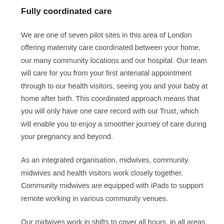Fully coordinated care
We are one of seven pilot sites in this area of London offering maternity care coordinated between your home, our many community locations and our hospital. Our team will care for you from your first antenatal appointment through to our health visitors, seeing you and your baby at home after birth. This coordinated approach means that you will only have one care record with our Trust, which will enable you to enjoy a smoother journey of care during your pregnancy and beyond.
As an integrated organisation, midwives, community midwives and health visitors work closely together. Community midwives are equipped with iPads to support remote working in various community venues.
Our midwives work in shifts to cover all hours, in all areas of